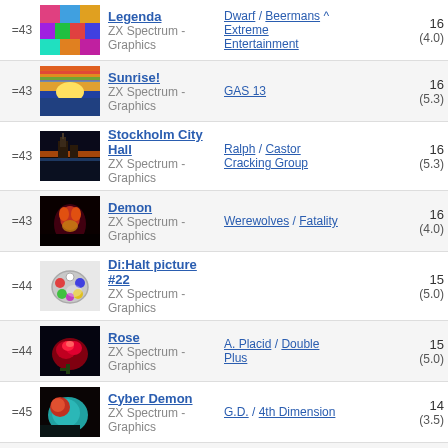| Rank | Thumb | Title/Category | Author/Group | Score |
| --- | --- | --- | --- | --- |
| =43 | img | Legenda / ZX Spectrum - Graphics | Dwarf / Beermans ^ Extreme Entertainment | 16 (4.0) |
| =43 | img | Sunrise! / ZX Spectrum - Graphics | GAS 13 | 16 (5.3) |
| =43 | img | Stockholm City Hall / ZX Spectrum - Graphics | Ralph / Castor Cracking Group | 16 (5.3) |
| =43 | img | Demon / ZX Spectrum - Graphics | Werewolves / Fatality | 16 (4.0) |
| =44 | img | Di:Halt picture #22 / ZX Spectrum - Graphics |  | 15 (5.0) |
| =44 | img | Rose / ZX Spectrum - Graphics | A. Placid / Double Plus | 15 (5.0) |
| =45 | img | Cyber Demon / ZX Spectrum - Graphics | G.D. / 4th Dimension | 14 (3.5) |
| =45 | img | Attack / ZX Spectrum - Graphics | Wizard / Navy Syndicate | 14 (3.5) |
| =46 | img | Gotcha / ZX Spectrum - Graphics | Ant / Cyber Punks | 13 (4.3) |